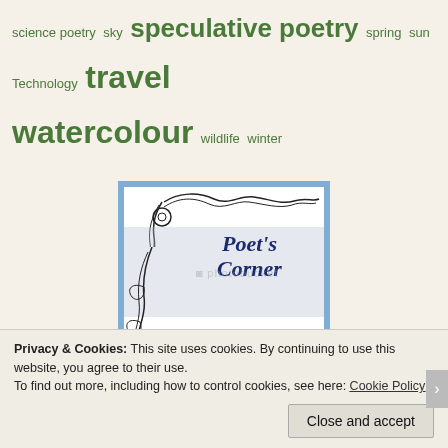science poetry sky speculative poetry spring sun Technology travel watercolour wildlife winter
[Figure (illustration): Poet's Corner logo: decorative Celtic swirl/vine border on left, text reading Poet's Corner in dark navy serif italic font, Where Poets Share in bold, Click to visit in blue, all inside a blue-bordered white box]
Privacy & Cookies: This site uses cookies. By continuing to use this website, you agree to their use. To find out more, including how to control cookies, see here: Cookie Policy